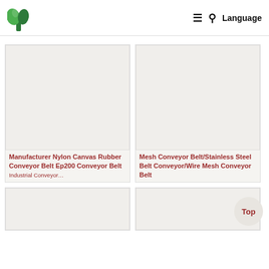Logo | ≡ 🔍 Language
[Figure (photo): Product image placeholder - left top card (blank/white image area)]
Manufacturer Nylon Canvas Rubber Conveyor Belt Ep200 Conveyor Belt Industrial Conveyor…
[Figure (photo): Product image placeholder - right top card (blank/white image area)]
Mesh Conveyor Belt/Stainless Steel Belt Conveyor/Wire Mesh Conveyor Belt
[Figure (photo): Product image placeholder - left bottom card (partially visible)]
[Figure (photo): Product image placeholder - right bottom card (partially visible)]